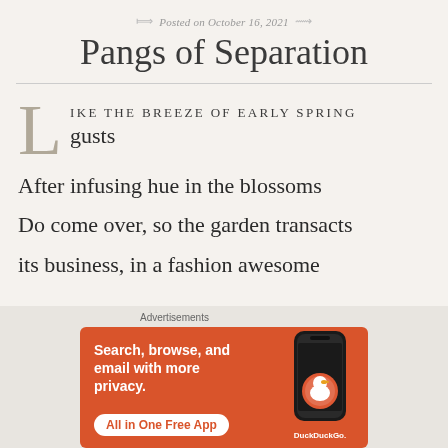Posted on October 16, 2021
Pangs of Separation
LIKE THE BREEZE OF EARLY SPRING gusts
After infusing hue in the blossoms
Do come over, so the garden transacts
its business, in a fashion awesome
[Figure (other): DuckDuckGo advertisement banner with orange background: 'Search, browse, and email with more privacy. All in One Free App' with phone mockup and DuckDuckGo logo]